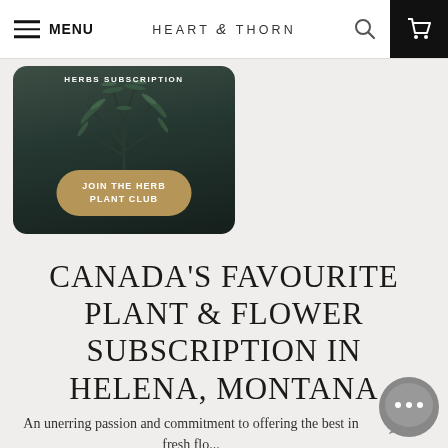MENU  HEART & THORN
[Figure (photo): Herb subscription promotional card with dark green background showing a potted herb plant (rosemary), text 'HERBS SUBSCRIPTION' at top, and a tan/gold oval button reading 'JOIN THE HERB PLANT CLUB']
CANADA'S FAVOURITE PLANT & FLOWER SUBSCRIPTION IN HELENA, MONTANA
An unerring passion and commitment to offering the best in fresh flo...